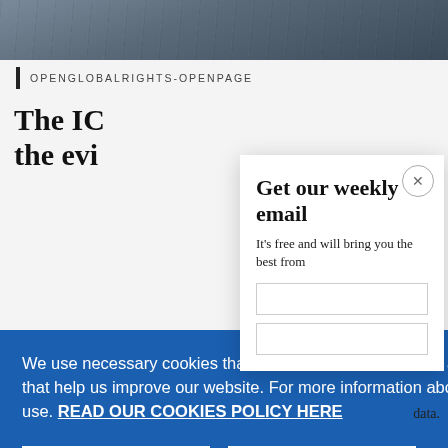[Figure (photo): Dark background photo of people or scene at the top of the page]
OPENGLOBALRIGHTS-OPENPAGE
The IC... the evi...
Get our weekly email
It's free and will bring you the best from
We use necessary cookies that allow our site to work. We also set optional cookies that help us improve our website. For more information about the types of cookies we use. READ OUR COOKIES POLICY HERE
COOKIE
ALLOW
War in Ukraine, six months on
9 hours ago
S
data.